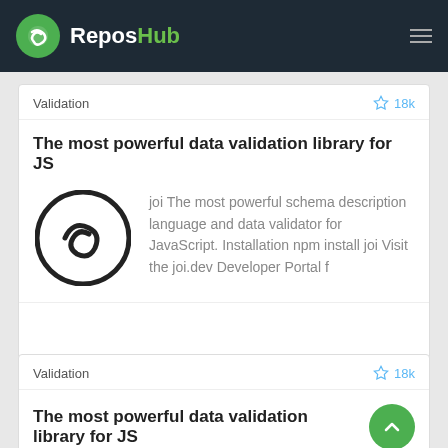ReposHub
Validation
18k
The most powerful data validation library for JS
joi The most powerful schema description language and data validator for JavaScript. Installation npm install joi Visit the joi.dev Developer Portal f
Validation
18k
The most powerful data validation library for JS